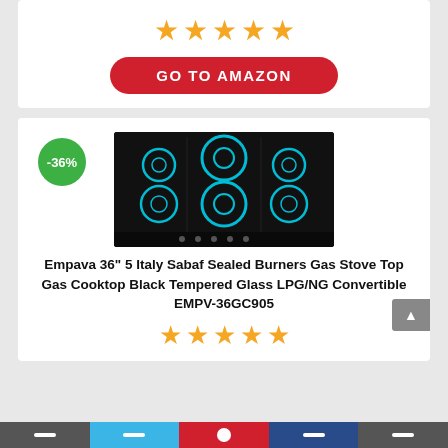[Figure (other): Five orange star rating icons in a row]
[Figure (other): Red rounded rectangle button with text GO TO AMAZON in white bold uppercase letters]
[Figure (other): Green circular discount badge showing -36%]
[Figure (photo): Product photo of Empava 36 inch 5 burner gas cooktop with black tempered glass and blue-lit burner rings]
Empava 36" 5 Italy Sabaf Sealed Burners Gas Stove Top Gas Cooktop Black Tempered Glass LPG/NG Convertible EMPV-36GC905
[Figure (other): Five orange star rating icons in a row at the bottom]